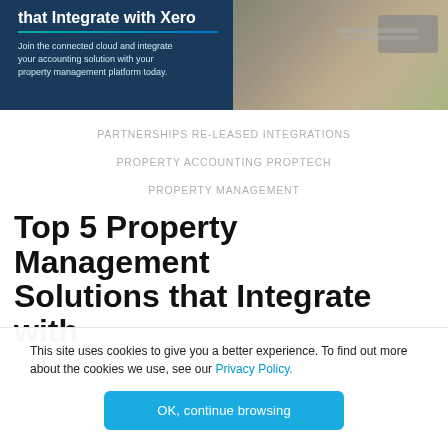[Figure (illustration): Banner image with dark blue background on left showing text 'that Integrate with Xero' with a teal underline and subtitle text, and a photo of a laptop/desk on the right]
PARTNERSHIPS RE-LEASED INTEGRATIONS
PROPERTY ACCOUNTING PROPTECH
PROPERTY MANAGEMENT
Top 5 Property Management Solutions that Integrate with
This site uses cookies to give you a better experience. To find out more about the cookies we use, see our Privacy Policy.
OK, continue browsing